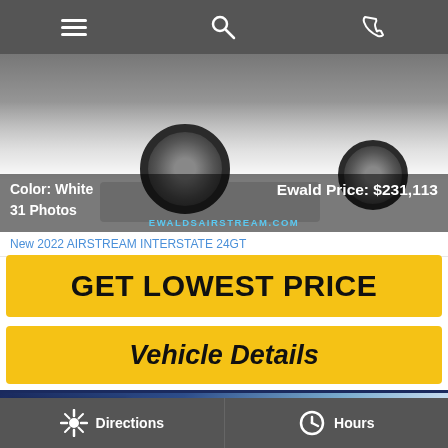[Figure (screenshot): Mobile navigation bar with hamburger menu, search, and phone icons]
[Figure (photo): White Airstream Interstate 24GT vehicle front/wheel view]
Color: White
31 Photos
Ewald Price: $231,113
EWALDSAIRSTREAM.COM
New 2022 AIRSTREAM INTERSTATE 24GT
GET LOWEST PRICE
Vehicle Details
[Figure (screenshot): Dealer banner showing STOCK * READY FOR D... text with Stock #CON46117 and Ewald's Airstream logo with 675 Facebook likes]
Directions  Hours